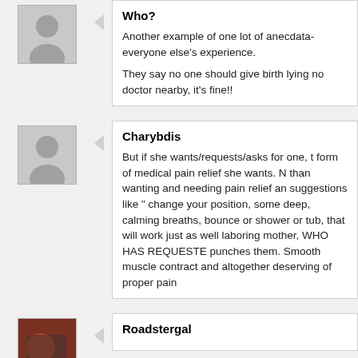Who?
Another example of one lot of anecdata- everyone else's experience.
They say no one should give birth lying no doctor nearby, it's fine!!
Charybdis
But if she wants/requests/asks for one, t form of medical pain relief she wants. N than wanting and needing pain relief an suggestions like " change your position, some deep, calming breaths, bounce or shower or tub, that will work just as well laboring mother, WHO HAS REQUESTE punches them. Smooth muscle contract and altogether deserving of proper pain
Roadstergal